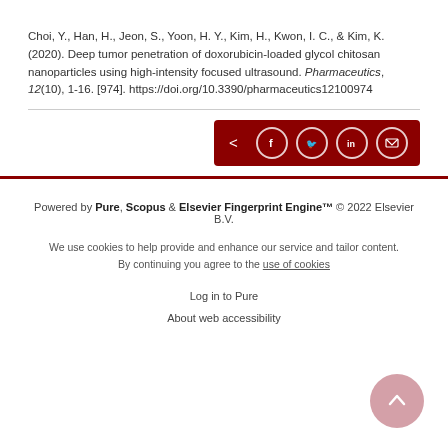Choi, Y., Han, H., Jeon, S., Yoon, H. Y., Kim, H., Kwon, I. C., & Kim, K. (2020). Deep tumor penetration of doxorubicin-loaded glycol chitosan nanoparticles using high-intensity focused ultrasound. Pharmaceutics, 12(10), 1-16. [974]. https://doi.org/10.3390/pharmaceutics12100974
[Figure (infographic): Dark red share bar with share icon and social media buttons: Facebook, Twitter, LinkedIn, Email]
Powered by Pure, Scopus & Elsevier Fingerprint Engine™ © 2022 Elsevier B.V.
We use cookies to help provide and enhance our service and tailor content. By continuing you agree to the use of cookies
Log in to Pure
About web accessibility